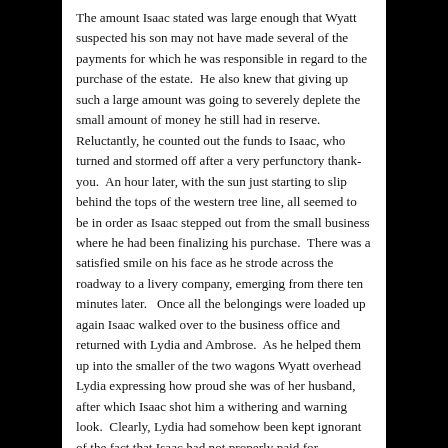The amount Isaac stated was large enough that Wyatt suspected his son may not have made several of the payments for which he was responsible in regard to the purchase of the estate.  He also knew that giving up such a large amount was going to severely deplete the small amount of money he still had in reserve.  Reluctantly, he counted out the funds to Isaac, who turned and stormed off after a very perfunctory thank-you.  An hour later, with the sun just starting to slip behind the tops of the western tree line, all seemed to be in order as Isaac stepped out from the small business where he had been finalizing his purchase.  There was a satisfied smile on his face as he strode across the roadway to a livery company, emerging from there ten minutes later.   Once all the belongings were loaded up again Isaac walked over to the business office and returned with Lydia and Ambrose.  As he helped them up into the smaller of the two wagons Wyatt overhead Lydia expressing how proud she was of her husband, after which Isaac shot him a withering and warning look.  Clearly, Lydia had somehow been kept ignorant of the fact that Isaac had not properly paid for the the estate. Wyatt could not...